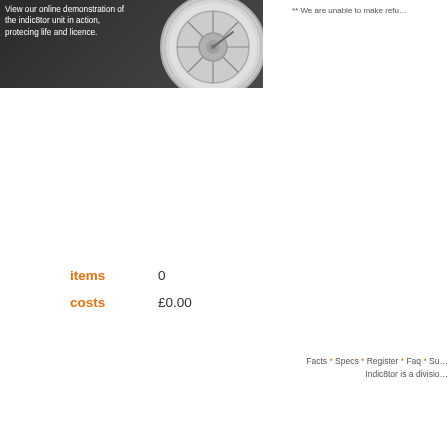[Figure (photo): Smoke detector / indic8tor unit shown closeup, circular white device with mesh grille, on dark background]
View our online demonstration of the indic8tor unit in action, protecing life and licence.
** We are unable to make refu…
items   0
costs   £0.00
Facts * Specs * Register * Faq * Su… Indic8tor is a divisio…